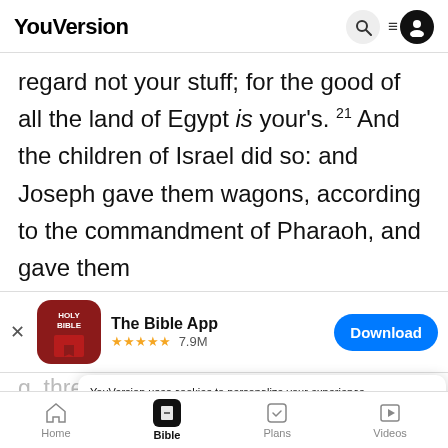YouVersion
regard not your stuff; for the good of all the land of Egypt is your's. 21 And the children of Israel did so: and Joseph gave them wagons, according to the commandment of Pharaoh, and gave them
[Figure (screenshot): App store banner for The Bible App with Holy Bible icon, 5 stars rating, 7.9M reviews, and Download button]
g three hundred pieces of silver, and five change of raiment after this manner: ten asses laden with the good
YouVersion uses cookies to personalize your experience. By using our website, you accept our use of cookies as described in our Privacy Policy.
Home | Bible | Plans | Videos